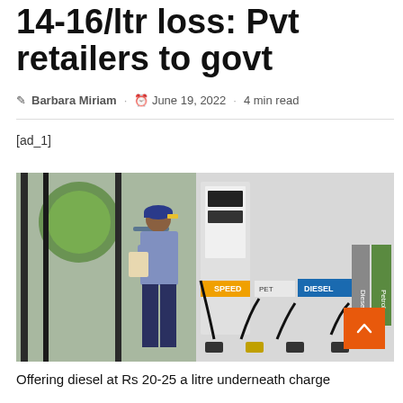14-16/ltr loss: Pvt retailers to govt
Barbara Miriam · June 19, 2022 · 4 min read
[ad_1]
[Figure (photo): A fuel station worker in blue uniform and cap reading something, standing in front of fuel dispensing pumps showing Petrol and Diesel nozzles]
Offering diesel at Rs 20-25 a litre underneath charge